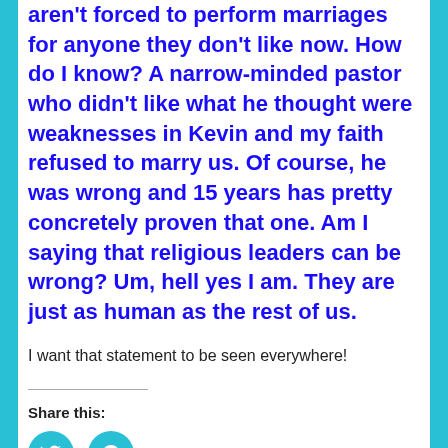aren't forced to perform marriages for anyone they don't like now. How do I know? A narrow-minded pastor who didn't like what he thought were weaknesses in Kevin and my faith refused to marry us. Of course, he was wrong and 15 years has pretty concretely proven that one. Am I saying that religious leaders can be wrong? Um, hell yes I am. They are just as human as the rest of us.
I want that statement to be seen everywhere!
Share this: